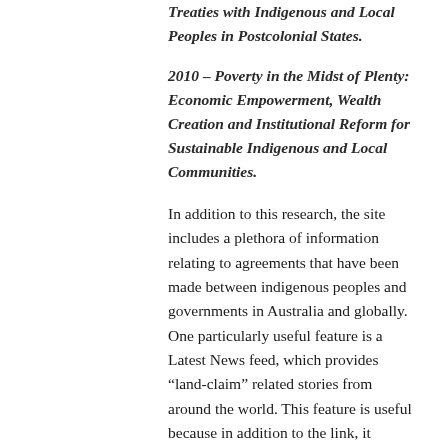Treaties with Indigenous and Local Peoples in Postcolonial States.
2010 – Poverty in the Midst of Plenty: Economic Empowerment, Wealth Creation and Institutional Reform for Sustainable Indigenous and Local Communities.
In addition to this research, the site includes a plethora of information relating to agreements that have been made between indigenous peoples and governments in Australia and globally. One particularly useful feature is a Latest News feed, which provides “land-claim” related stories from around the world. This feature is useful because in addition to the link, it provides background context and a short summation.  ATNS also hosted a major symposium in June of 2013 focusing on indigenous and land claims issues in Australia. Many of the conference sessions are available for online